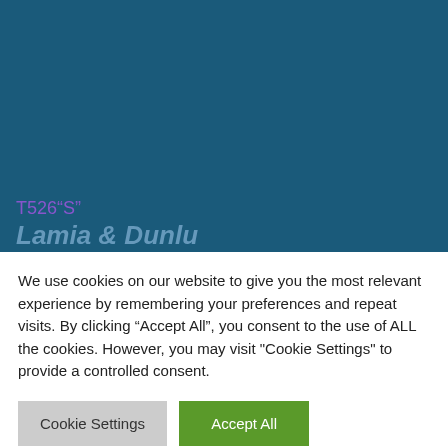[Figure (screenshot): Dark teal/blue background covering the top portion of the page, representing a website background]
T526"S"
Lamia & Dunlu
We use cookies on our website to give you the most relevant experience by remembering your preferences and repeat visits. By clicking “Accept All”, you consent to the use of ALL the cookies. However, you may visit "Cookie Settings" to provide a controlled consent.
Cookie Settings
Accept All